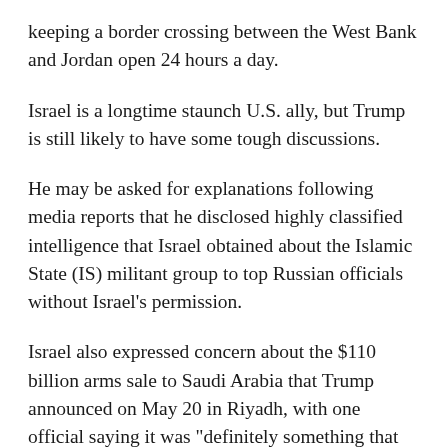keeping a border crossing between the West Bank and Jordan open 24 hours a day.
Israel is a longtime staunch U.S. ally, but Trump is still likely to have some tough discussions.
He may be asked for explanations following media reports that he disclosed highly classified intelligence that Israel obtained about the Islamic State (IS) militant group to top Russian officials without Israel's permission.
Israel also expressed concern about the $110 billion arms sale to Saudi Arabia that Trump announced on May 20 in Riyadh, with one official saying it was "definitely something that should trouble us."
Trump has also backed off of a vow made during his